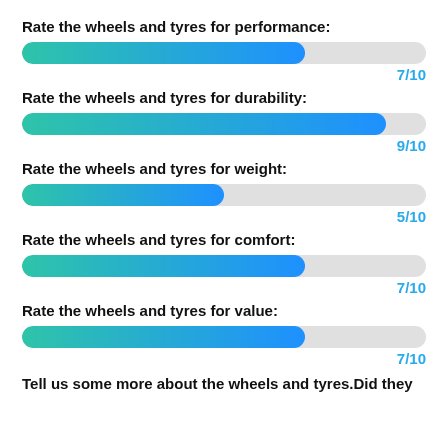Rate the wheels and tyres for performance:
[Figure (bar-chart): Performance rating]
Rate the wheels and tyres for durability:
[Figure (bar-chart): Durability rating]
Rate the wheels and tyres for weight:
[Figure (bar-chart): Weight rating]
Rate the wheels and tyres for comfort:
[Figure (bar-chart): Comfort rating]
Rate the wheels and tyres for value:
[Figure (bar-chart): Value rating]
Tell us some more about the wheels and tyres.Did they